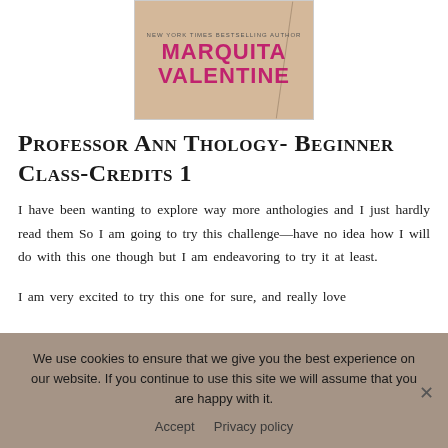[Figure (illustration): Book cover image for Marquita Valentine with author name in pink/magenta bold letters on a tan/beige background with a diagonal line.]
Professor Ann Thology- Beginner Class-Credits 1
I have been wanting to explore way more anthologies and I just hardly read them So I am going to try this challenge—have no idea how I will do with this one though but I am endeavoring to try it at least.
I am very excited to try this one for sure, and really love
We use cookies to ensure that we give you the best experience on our website. If you continue to use this site we will assume that you are happy with it.
Accept  Privacy policy